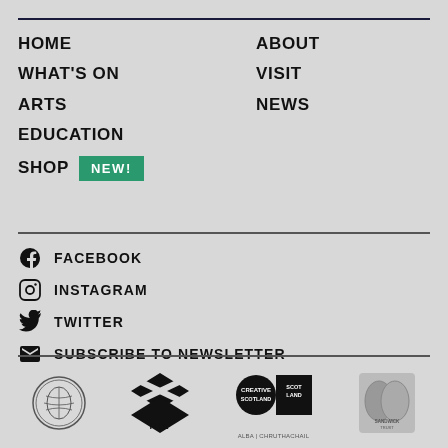HOME
WHAT'S ON
ARTS
EDUCATION
SHOP NEW!
ABOUT
VISIT
NEWS
FACEBOOK
INSTAGRAM
TWITTER
SUBSCRIBE TO NEWSLETTER
[Figure (logo): Four partner/funder logos: HIE, Creative Scotland / Alba Chruthachail, and two others]